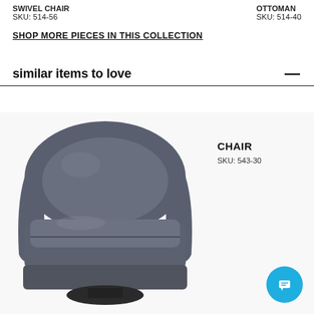SWIVEL CHAIR
SKU: 514-56
OTTOMAN
SKU: 514-40
SHOP MORE PIECES IN THIS COLLECTION
similar items to love
[Figure (photo): Gray leather barrel swivel chair with tufted cushion seat, rounded back, and black swivel base]
CHAIR
SKU: 543-30